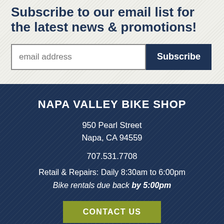Subscribe to our email list for the latest news & promotions!
email address | Subscribe
NAPA VALLEY BIKE SHOP
950 Pearl Street
Napa, CA 94559
707.531.7708
Retail & Repairs: Daily 8:30am to 6:00pm
Bike rentals due back by 5:00pm
CONTACT US